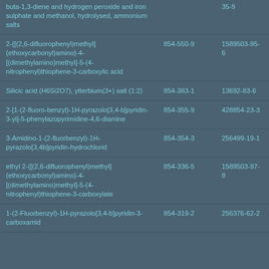| buta-1,3-diene and hydrogen peroxide and iron sulphate and methanol, hydrolysed, ammonium salts |  | 35-9 |
| 2-{[(2,6-difluorophenyl)methyl](ethoxycarbonyl)amino}-4-[(dimethylamino)methyl]-5-(4-nitrophenyl)thiophene-3-carboxylic acid | 854-550-9 | 1589503-95-6 |
| Silicic acid (H6Si2O7), ytterbium(3+) salt (1:2) | 854-383-1 | 13692-83-6 |
| 2-[1-(2-fluoro-benzyl)-1H-pyrazolo[3,4-b]pyridin-3-yl]-5-phenylazopyrimidine-4,6-diamine | 854-355-9 | 428854-23-3 |
| 3-Amidino-1-(2-fluorbenzyl)-1H-pyrazolo[3,4b]pyridin-hydrochlorid | 854-354-3 | 256499-19-1 |
| ethyl 2-{[(2,6-difluorophenyl)methyl](ethoxycarbonyl)amino}-4-[(dimethylamino)methyl]-5-(4-nitrophenyl)thiophene-3-carboxylate | 854-336-5 | 1589503-97-8 |
| 1-(2-Fluorbenzyl)-1H-pyrazolo[3,4-b]pyridin-3-carboxamid | 854-319-2 | 256376-62-2 |